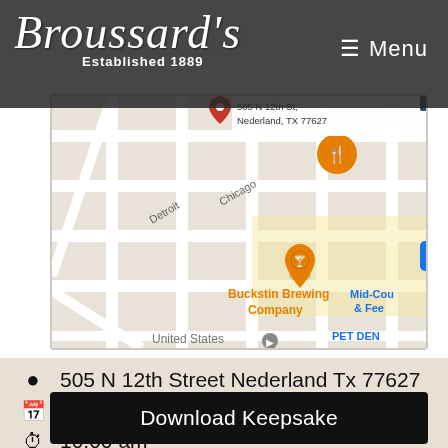Broussards Established 1889 — Menu
[Figure (map): Google Maps screenshot showing the area around 505 N 12th St, Nederland, TX 77627. Shows street grid with labels for Buckstin Brewing Company (orange pin), Mid-Cou & Fee, PET DEN, United States label, and street names Detroit, Chicago. Orange restaurant/bar marker pins visible.]
505 N 12th Street Nederland Tx 77627
03/03/2021
10:00 am
Download Keepsake